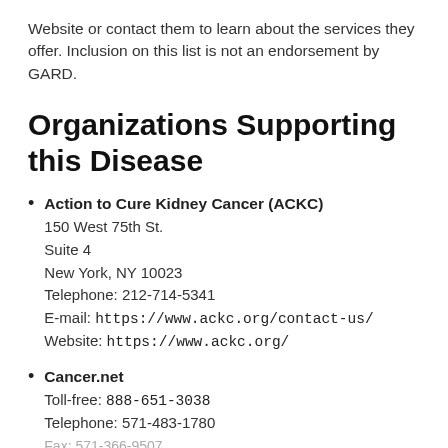Website or contact them to learn about the services they offer. Inclusion on this list is not an endorsement by GARD.
Organizations Supporting this Disease
Action to Cure Kidney Cancer (ACKC)
150 West 75th St.
Suite 4
New York, NY 10023
Telephone: 212-714-5341
E-mail: https://www.ackc.org/contact-us/
Website: https://www.ackc.org/
Cancer.net
Toll-free: 888-651-3038
Telephone: 571-483-1780
Fax: 571-366-9507